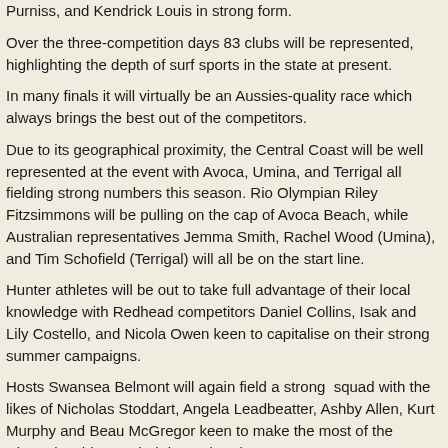Purniss, and Kendrick Louis in strong form.
Over the three-competition days 83 clubs will be represented, highlighting the depth of surf sports in the state at present.
In many finals it will virtually be an Aussies-quality race which always brings the best out of the competitors.
Due to its geographical proximity, the Central Coast will be well represented at the event with Avoca, Umina, and Terrigal all fielding strong numbers this season. Rio Olympian Riley Fitzsimmons will be pulling on the cap of Avoca Beach, while Australian representatives Jemma Smith, Rachel Wood (Umina), and Tim Schofield (Terrigal) will all be on the start line.
Hunter athletes will be out to take full advantage of their local knowledge with Redhead competitors Daniel Collins, Isak and Lily Costello, and Nicola Owen keen to capitalise on their strong summer campaigns.
Hosts Swansea Belmont will again field a strong squad with the likes of Nicholas Stoddart, Angela Leadbeatter, Ashby Allen, Kurt Murphy and Beau McGregor keen to make the most of the Championships on their home break.